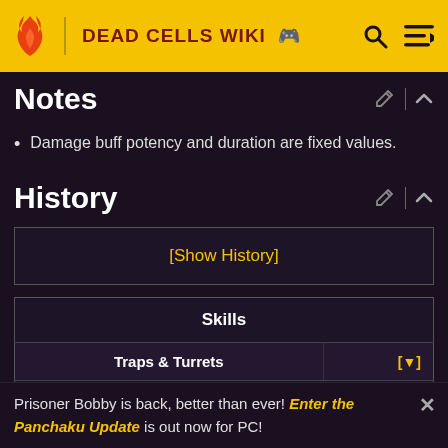DEAD CELLS WIKI
Notes
Damage buff potency and duration are fixed values.
History
[Show History]
| Skills |
| --- |
| Traps & Turrets | [▼] |
| Grenades | [▼] |
Prisoner Bobby is back, better than ever! Enter the Panchaku Update is out now for PC!